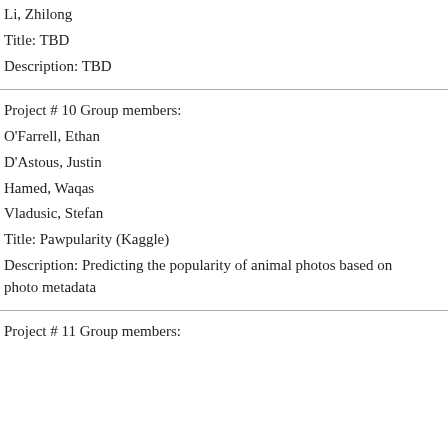Li, Zhilong
Title: TBD
Description: TBD
Project # 10 Group members:
O'Farrell, Ethan
D'Astous, Justin
Hamed, Waqas
Vladusic, Stefan
Title: Pawpularity (Kaggle)
Description: Predicting the popularity of animal photos based on photo metadata
Project # 11 Group members: